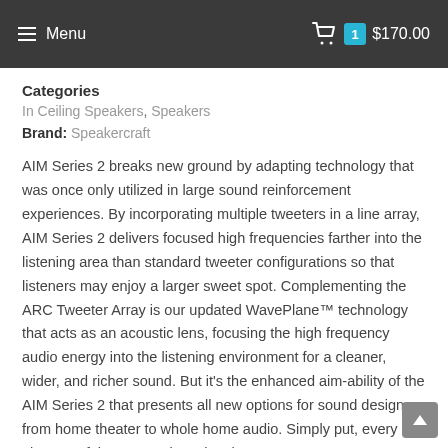Menu  1  $170.00
Categories
In Ceiling Speakers, Speakers
Brand: Speakercraft
AIM Series 2 breaks new ground by adapting technology that was once only utilized in large sound reinforcement experiences. By incorporating multiple tweeters in a line array, AIM Series 2 delivers focused high frequencies farther into the listening area than standard tweeter configurations so that listeners may enjoy a larger sweet spot. Complementing the ARC Tweeter Array is our updated WavePlane™ technology that acts as an acoustic lens, focusing the high frequency audio energy into the listening environment for a cleaner, wider, and richer sound. But it's the enhanced aim-ability of the AIM Series 2 that presents all new options for sound design—from home theater to whole home audio. Simply put, every element of the AIM Series 2 has been